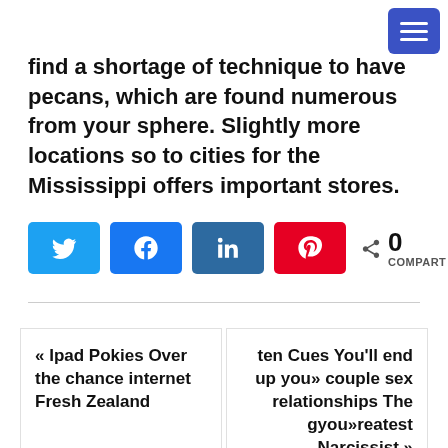[Figure (other): Navigation hamburger menu button — three horizontal white lines on a blue rounded rectangle background, positioned top-right corner]
find a shortage of technique to have pecans, which are found numerous from your sphere. Slightly more locations so to cities for the Mississippi offers important stores.
[Figure (infographic): Social share buttons row: Twitter (light blue), Facebook (blue), LinkedIn (dark blue), Pinterest (red), and a share count showing 0 COMPART]
« Ipad Pokies Over the chance internet Fresh Zealand
ten Cues You'll end up you» couple sex relationships The gyou»reatest Narcissist »